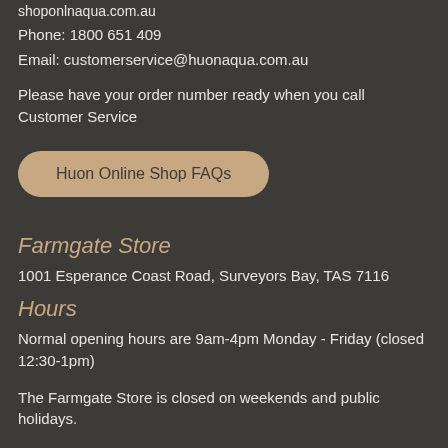shoponlnaqua.com.au
Phone: 1800 651 409
Email: customerservice@huonaqua.com.au
Please have your order number ready when you call Customer Service
Huon Online Shop FAQs
Farmgate Store
1001 Esperance Coast Road, Surveyors Bay, TAS 7116
Hours
Normal opening hours are 9am-4pm Monday - Friday (closed 12:30-1pm)
The Farmgate Store is closed on weekends and public holidays.